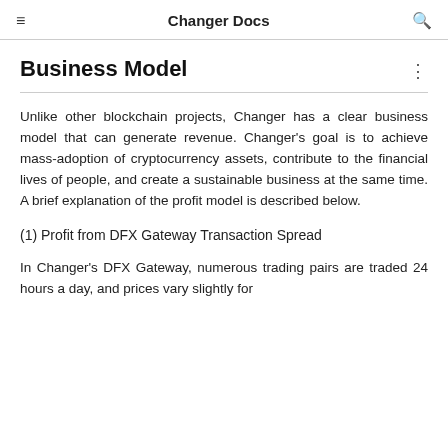Changer Docs
Business Model
Unlike other blockchain projects, Changer has a clear business model that can generate revenue. Changer's goal is to achieve mass-adoption of cryptocurrency assets, contribute to the financial lives of people, and create a sustainable business at the same time. A brief explanation of the profit model is described below.
(1) Profit from DFX Gateway Transaction Spread
In Changer's DFX Gateway, numerous trading pairs are traded 24 hours a day, and prices vary slightly for